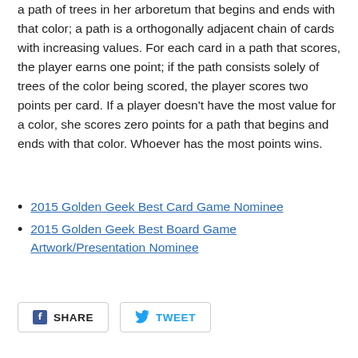a path of trees in her arboretum that begins and ends with that color; a path is a orthogonally adjacent chain of cards with increasing values. For each card in a path that scores, the player earns one point; if the path consists solely of trees of the color being scored, the player scores two points per card. If a player doesn't have the most value for a color, she scores zero points for a path that begins and ends with that color. Whoever has the most points wins.
2015 Golden Geek Best Card Game Nominee
2015 Golden Geek Best Board Game Artwork/Presentation Nominee
[Figure (other): Social share buttons: Facebook SHARE button and Twitter TWEET button]